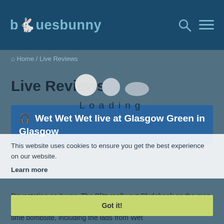bluesbunny
Home / Live Reviews
Live Reviews
🎧 Wet Wet Wet live at Glasgow Green in Glasgow
This website uses cookies to ensure you get the best experience on our website.
Learn more
Loading
Got it!
Devastating as it was, The Blitz really put Clydebank on the map. Thankfully, many great people have since emerged from the one-time bombsite, including the lads from Wet